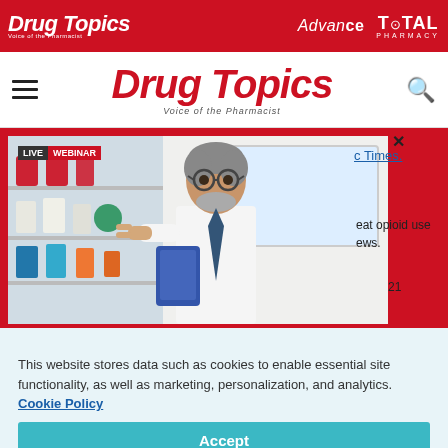[Figure (logo): Drug Topics logo in white italic text on red banner, with Advance and Total Pharmacy logos to the right]
[Figure (logo): Drug Topics navigation bar with hamburger menu, red italic Drug Topics logo, and search icon]
[Figure (photo): Live webinar popup showing a pharmacist in white coat with glasses holding a tablet, browsing pharmacy shelves. Red modal border with close X button. Partially visible text on right: 'c Times.' and 'eat opioid use' 'ews.' '21']
This website stores data such as cookies to enable essential site functionality, as well as marketing, personalization, and analytics. Cookie Policy
Accept
Deny